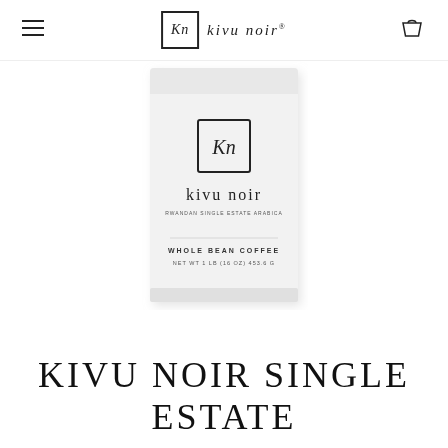Kn kivu noir
[Figure (photo): White coffee bag with Kivu Noir branding. Features a square logo with 'Kn' inside, the brand name 'kivu noir' in lowercase letters, subtitle 'RWANDAN SINGLE ESTATE ARABICA', and 'WHOLE BEAN COFFEE NET WT 1 LB (16 OZ) 453.6 G' at the bottom.]
KIVU NOIR SINGLE ESTATE